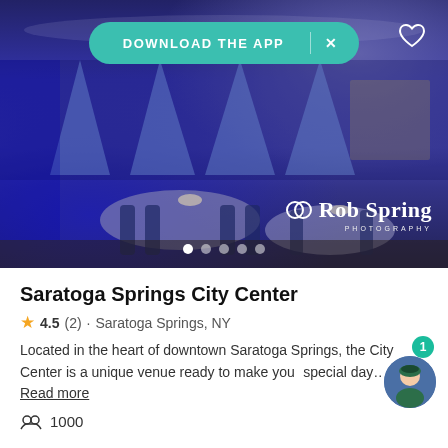[Figure (photo): Banquet hall with blue uplighting, round tables with white linens and navy chiavari chairs, elaborate centerpieces, white draping on walls. 'Rob Spring Photography' watermark in bottom right corner. 'DOWNLOAD THE APP' teal banner overlay at top, heart icon top right, 5 carousel indicator dots at bottom.]
Saratoga Springs City Center
4.5 (2) · Saratoga Springs, NY
Located in the heart of downtown Saratoga Springs, the City Center is a unique venue ready to make your special day… Read more
1000